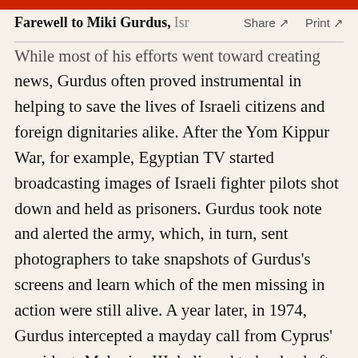Farewell to Miki Gurdus, Isr   Share ↗   Print ↗
While most of his efforts went toward creating news, Gurdus often proved instrumental in helping to save the lives of Israeli citizens and foreign dignitaries alike. After the Yom Kippur War, for example, Egyptian TV started broadcasting images of Israeli fighter pilots shot down and held as prisoners. Gurdus took note and alerted the army, which, in turn, sent photographers to take snapshots of Gurdus's screens and learn which of the men missing in action were still alive. A year later, in 1974, Gurdus intercepted a mayday call from Cyprus' president, Makarios III, believed to be dead after an assassination attempt that launched a coup